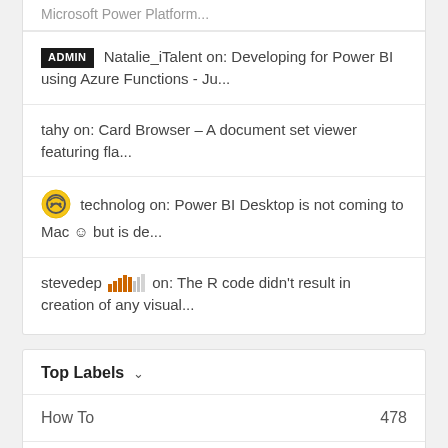ADMIN Natalie_iTalent on: Developing for Power BI using Azure Functions - Ju...
tahy on: Card Browser – A document set viewer featuring fla...
technolog on: Power BI Desktop is not coming to Mac ☺ but is de...
stevedep on: The R code didn't result in creation of any visual...
Top Labels
How To   478
Tips & Tricks   486